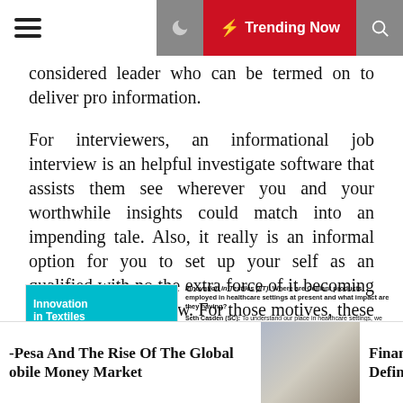Trending Now
considered leader who can be termed on to deliver pro information.
For interviewers, an informational job interview is an helpful investigate software that assists them see wherever you and your worthwhile insights could match into an impending tale. Also, it really is an informal option for you to set up your self as an qualified with no the extra force of it becoming a formal job interview. For those motives, these interviews are mutually valuable.
[Figure (screenshot): Embedded article preview: Innovation in Textiles interview about Making the most of infrared energy with Seth Casden, CEO and co-founder, Hologenix, alongside article text about Celliant products in healthcare settings.]
-Pesa And The Rise Of The Global obile Money Market    Financing Definitio